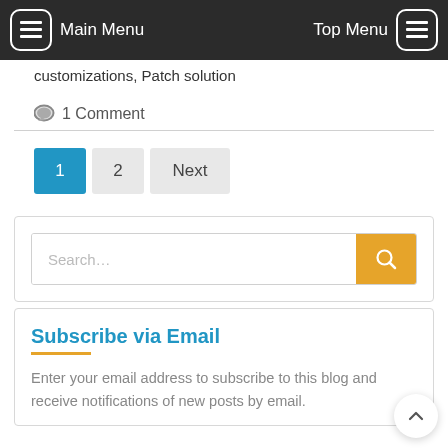Main Menu | Top Menu
customizations, Patch solution
1 Comment
1 2 Next
[Figure (screenshot): Search bar with orange search button]
Subscribe via Email
Enter your email address to subscribe to this blog and receive notifications of new posts by email.